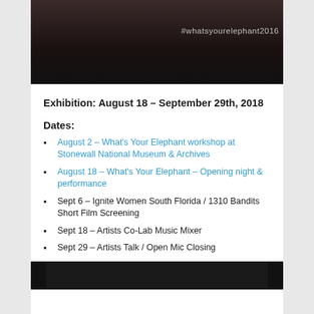[Figure (photo): Dark photo of people at an event with overlay text '#whatsyourelephant2016']
Exhibition: August 18 – September 29th, 2018
Dates:
August 2  – What's Your Elephant workshop at Stonewall National Museum & Archives
August 18  – What's Your Elephant – Opening night & performance
Sept 6 – Ignite Women South Florida / 1310 Bandits Short Film Screening
Sept 18  – Artists Co-Lab Music Mixer
Sept 29  – Artists Talk / Open Mic Closing
[Figure (photo): Dark photo at bottom of page, partial view]